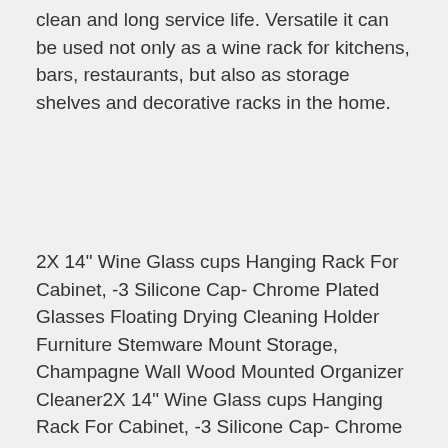clean and long service life. Versatile it can be used not only as a wine rack for kitchens, bars, restaurants, but also as storage shelves and decorative racks in the home.
2X 14" Wine Glass cups Hanging Rack For Cabinet, -3 Silicone Cap- Chrome Plated Glasses Floating Drying Cleaning Holder Furniture Stemware Mount Storage, Champagne Wall Wood Mounted Organizer Cleaner2X 14" Wine Glass cups Hanging Rack For Cabinet, -3 Silicone Cap- Chrome Plated Glasses Floating Drying Cleaning Holder Furniture Stemware Mount Storage, Champagne Wall Wood Mounted Organizer Cleaner